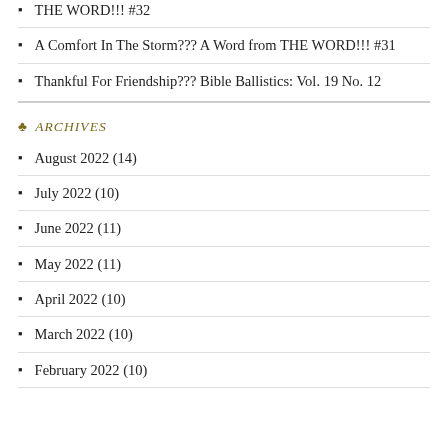THE WORD!!! #32
A Comfort In The Storm??? A Word from THE WORD!!! #31
Thankful For Friendship??? Bible Ballistics: Vol. 19 No. 12
♣ ARCHIVES
August 2022 (14)
July 2022 (10)
June 2022 (11)
May 2022 (11)
April 2022 (10)
March 2022 (10)
February 2022 (10)